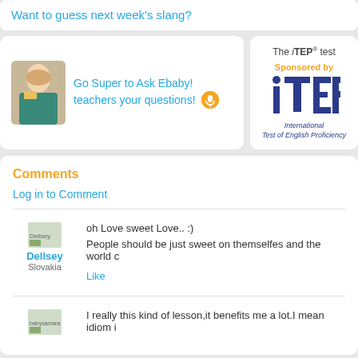Want to guess next week's slang?
Go Super to Ask Ebaby! teachers your questions!
[Figure (illustration): iTEP logo with 'Sponsored by' in orange and 'International Test of English Proficiency' text]
Comments
Log in to Comment
oh Love sweet Love.. :)
People should be just sweet on themselfes and the world c
Like
I really this kind of lesson,it benefits me a lot.I mean idiom i